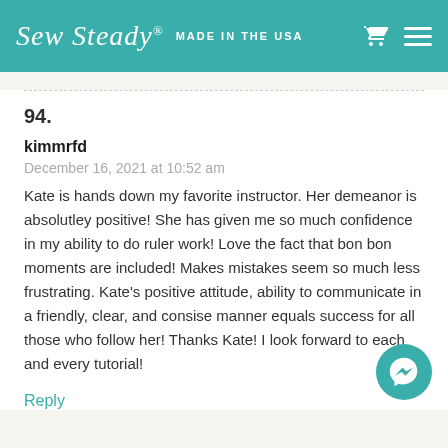Sew Steady® MADE IN THE USA
94.
kimmrfd
December 16, 2021 at 10:52 am
Kate is hands down my favorite instructor. Her demeanor is absolutley positive! She has given me so much confidence in my ability to do ruler work! Love the fact that bon bon moments are included! Makes mistakes seem so much less frustrating. Kate's positive attitude, ability to communicate in a friendly, clear, and consise manner equals success for all those who follow her! Thanks Kate! I look forward to each and every tutorial!
Reply